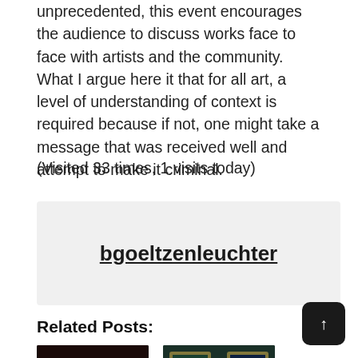unprecedented, this event encourages the audience to discuss works face to face with artists and the community. What I argue here it that for all art, a level of understanding of context is required because if not, one might take a message that was received well and attempt to make it criminal.
(Visited 33 times, 1 visits today)
bgoeltzenleuchter
Related Posts:
[Figure (photo): Thumbnail image of a figure in a dress on dark background]
[Figure (photo): Thumbnail image of two framed paintings side by side]